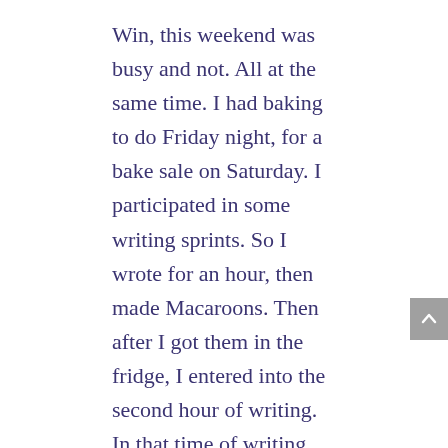Win, this weekend was busy and not. All at the same time. I had baking to do Friday night, for a bake sale on Saturday. I participated in some writing sprints. So I wrote for an hour, then made Macaroons. Then after I got them in the fridge, I entered into the second hour of writing. In that time of writing, Friday, in both sessions, I started a new fictional story about the cats in my book. It will have a time and a place for release. It was fun to write a what if story about them. It is going to be something special when I am ready to share it.
Saturday I got ready and picked up some bottles at work for the Bottle Drive. The event